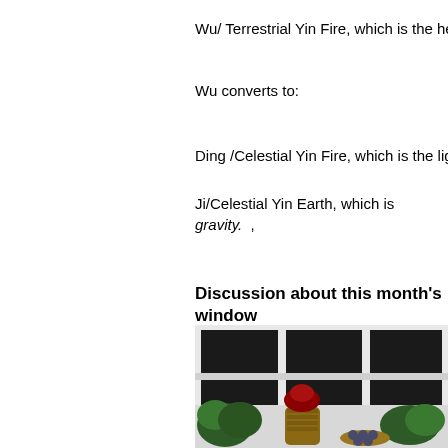Wu/ Terrestrial Yin Fire, which is the hearth.
Wu converts to:
Ding /Celestial Yin Fire, which is the light of s
Ji/Celestial Yin Earth, which is gravity.  ,
Discussion about this month's window
[Figure (photo): Indoor window scene with various green potted plants and a tall wicker basket holding a plant with red foliage, along with a small wicker tray with round objects, set against large white-framed windows with dark exterior beyond.]